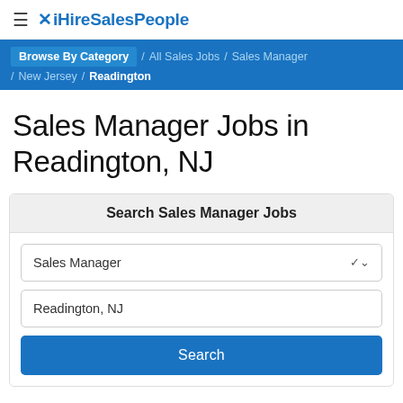≡ ✕iHireSalesPeople
Browse By Category / All Sales Jobs / Sales Manager / New Jersey / Readington
Sales Manager Jobs in Readington, NJ
Search Sales Manager Jobs
Sales Manager [dropdown]
Readington, NJ
Search